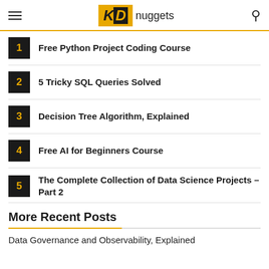KDnuggets
1 Free Python Project Coding Course
2 5 Tricky SQL Queries Solved
3 Decision Tree Algorithm, Explained
4 Free AI for Beginners Course
5 The Complete Collection of Data Science Projects – Part 2
More Recent Posts
Data Governance and Observability, Explained